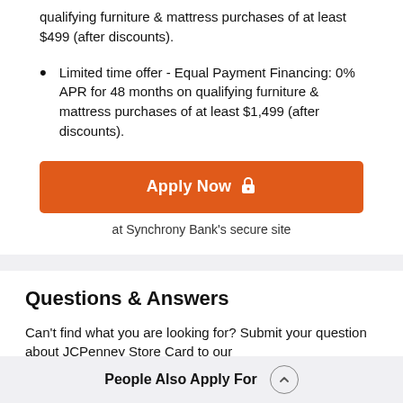qualifying furniture & mattress purchases of at least $499 (after discounts).
Limited time offer - Equal Payment Financing: 0% APR for 48 months on qualifying furniture & mattress purchases of at least $1,499 (after discounts).
Apply Now 🔒
at Synchrony Bank's secure site
Questions & Answers
Can't find what you are looking for? Submit your question about JCPenney Store Card to our
People Also Apply For